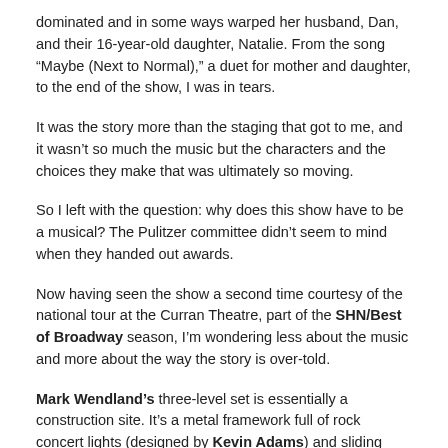dominated and in some ways warped her husband, Dan, and their 16-year-old daughter, Natalie. From the song “Maybe (Next to Normal),” a duet for mother and daughter, to the end of the show, I was in tears.
It was the story more than the staging that got to me, and it wasn’t so much the music but the characters and the choices they make that was ultimately so moving.
So I left with the question: why does this show have to be a musical? The Pulitzer committee didn’t seem to mind when they handed out awards.
Now having seen the show a second time courtesy of the national tour at the Curran Theatre, part of the SHN/Best of Broadway season, I’m wondering less about the music and more about the way the story is over-told.
Mark Wendland’s three-level set is essentially a construction site. It’s a metal framework full of rock concert lights (designed by Kevin Adams) and sliding panels that give the impression of a “normally” cluttered